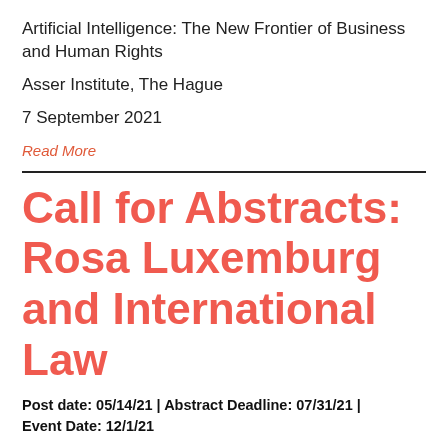Artificial Intelligence: The New Frontier of Business and Human Rights
Asser Institute, The Hague
7 September 2021
Read More
Call for Abstracts: Rosa Luxemburg and International Law
Post date: 05/14/21 | Abstract Deadline: 07/31/21 | Event Date: 12/1/21